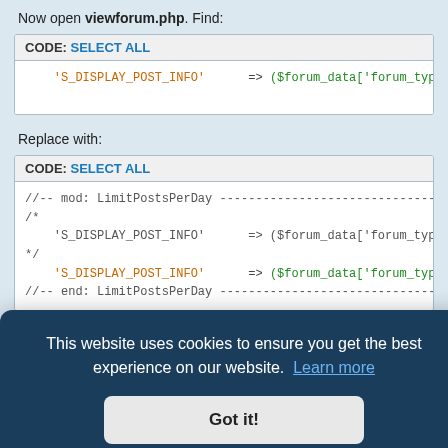Now open viewforum.php. Find:
CODE: SELECT ALL
'S_DISPLAY_POST_INFO'      => ($forum_data['forum_type'] ==
Replace with:
CODE: SELECT ALL
//-- mod: LimitPostsPerDay ---------------------------------
/*
    'S_DISPLAY_POST_INFO'      => ($forum_data['forum_type'] ==
*/
    'S_DISPLAY_POST_INFO'      => ($forum_data['forum_type'] ==
//-- end: LimitPostsPerDay ---------------------------------
This website uses cookies to ensure you get the best experience on our website. Learn more
Got it!